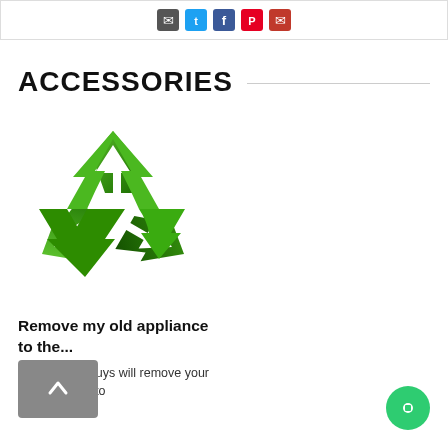[Figure (other): Social media icon buttons (email/dark, Twitter/blue, Facebook/dark blue, Pinterest/red, email/red) in a white bordered bar at the top of the page]
ACCESSORIES
[Figure (illustration): Green recycling symbol logo with three chasing arrows in dark and light green shades]
Remove my old appliance to the...
Our delivery guys will remove your old appliance to